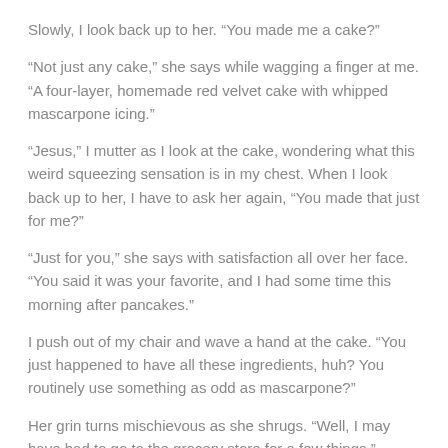Slowly, I look back up to her. “You made me a cake?”
“Not just any cake,” she says while wagging a finger at me. “A four-layer, homemade red velvet cake with whipped mascarpone icing.”
“Jesus,” I mutter as I look at the cake, wondering what this weird squeezing sensation is in my chest. When I look back up to her, I have to ask her again, “You made that just for me?”
“Just for you,” she says with satisfaction all over her face. “You said it was your favorite, and I had some time this morning after pancakes.”
I push out of my chair and wave a hand at the cake. “You just happened to have all these ingredients, huh? You routinely use something as odd as mascarpone?”
Her grin turns mischievous as she shrugs. “Well, I may have had to go to the grocery store for a few things.”
Jesus fuck. I can't believe she did that for me.